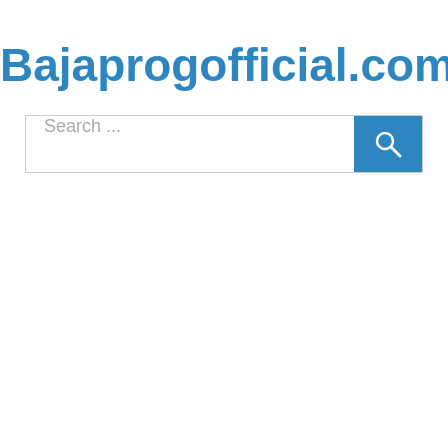Bajaprogofficial.com
[Figure (screenshot): Search bar with placeholder text 'Search ...' and a blue search button with magnifying glass icon]